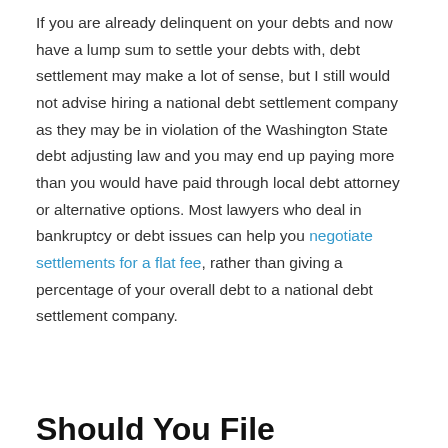If you are already delinquent on your debts and now have a lump sum to settle your debts with, debt settlement may make a lot of sense, but I still would not advise hiring a national debt settlement company as they may be in violation of the Washington State debt adjusting law and you may end up paying more than you would have paid through local debt attorney or alternative options. Most lawyers who deal in bankruptcy or debt issues can help you negotiate settlements for a flat fee, rather than giving a percentage of your overall debt to a national debt settlement company.
Should You File